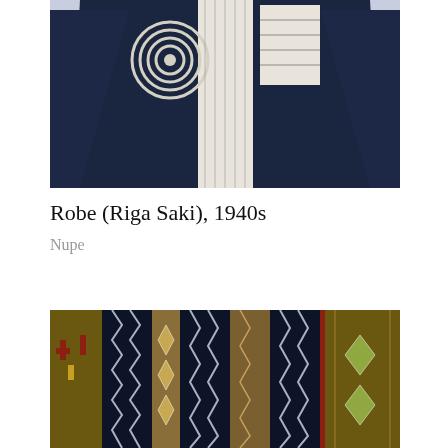[Figure (photo): Dark navy blue Robe (Riga Saki) from the 1940s, displayed spread out showing embroidered white circular and geometric patterns in the center panel against the dark indigo fabric background.]
Robe (Riga Saki), 1940s
Nupe
[Figure (photo): Close-up of woven textile strips showing geometric patterns including zigzag/chevron designs and diamond shapes in navy blue, gold, tan, red, and green colors arranged in vertical bands.]